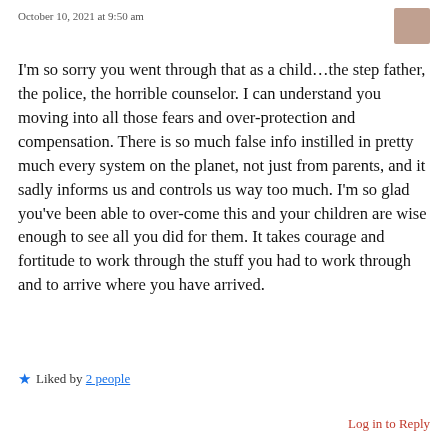October 10, 2021 at 9:50 am
I'm so sorry you went through that as a child…the step father, the police, the horrible counselor. I can understand you moving into all those fears and over-protection and compensation. There is so much false info instilled in pretty much every system on the planet, not just from parents, and it sadly informs us and controls us way too much. I'm so glad you've been able to over-come this and your children are wise enough to see all you did for them. It takes courage and fortitude to work through the stuff you had to work through and to arrive where you have arrived.
★ Liked by 2 people
Log in to Reply